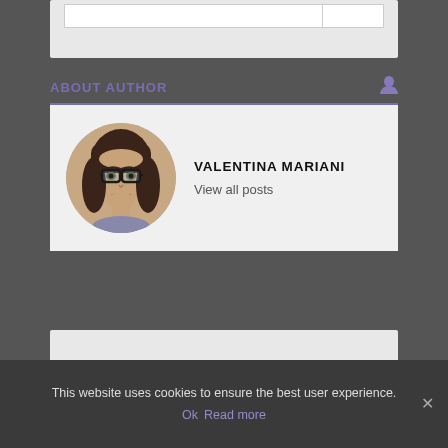ABOUT AUTHOR
[Figure (photo): Circular portrait photo of Valentina Mariani, a woman with dark hair and glasses, smiling]
VALENTINA MARIANI
View all posts
This website uses cookies to ensure the best user experience.
Ok   Read more